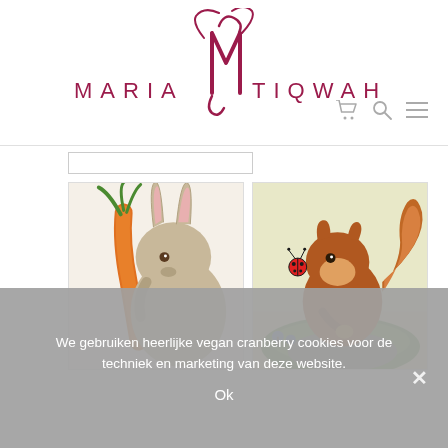[Figure (logo): Maria Tiqwah logo with stylized MT monogram in crimson/dark red, with 'MARIA' on the left and 'TIQWAH' on the right in uppercase spaced letters]
[Figure (illustration): Illustration of a bunny rabbit holding a large orange carrot]
[Figure (illustration): Illustration of a red squirrel on a mossy rock with a ladybug flying nearby]
We gebruiken heerlijke vegan cranberry cookies voor de techniek en marketing van deze website.
Ok